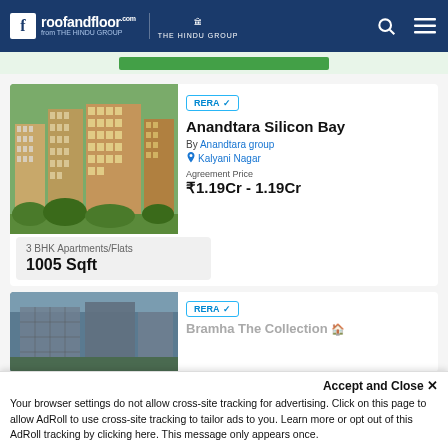roofandfloor.com from THE HINDU GROUP | THE HINDU GROUP
[Figure (screenshot): Apartment building exterior photo for Anandtara Silicon Bay listing]
Anandtara Silicon Bay
By Anandtara group
Kalyani Nagar
Agreement Price
₹1.19Cr - 1.19Cr
3 BHK Apartments/Flats
1005 Sqft
[Figure (photo): Partial apartment building photo for second listing]
RERA ✓
Bramha The Collection
Accept and Close ✕
Your browser settings do not allow cross-site tracking for advertising. Click on this page to allow AdRoll to use cross-site tracking to tailor ads to you. Learn more or opt out of this AdRoll tracking by clicking here. This message only appears once.